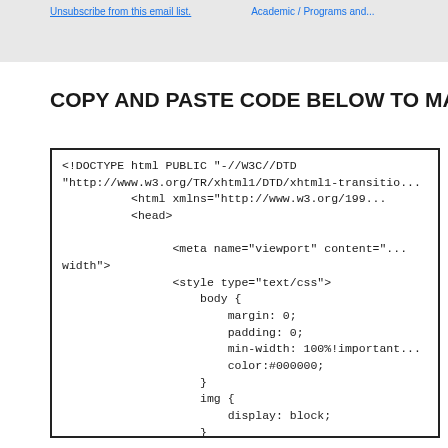Unsubscribe from this email list.    Academic / Programs and...
COPY AND PASTE CODE BELOW TO MAILCHI...
<!DOCTYPE html PUBLIC "-//W3C//DTD
"http://www.w3.org/TR/xhtml1/DTD/xhtml1-transitio...
<html xmlns="http://www.w3.org/199...
<head>

      <meta name="viewport" content="...
width">
      <style type="text/css">
          body {
              margin: 0;
              padding: 0;
              min-width: 100%!important...
              color:#000000;
          }
          img {
              display: block;
          }
          a img {
              border:none;